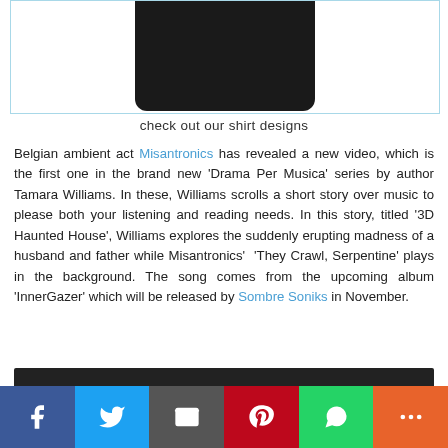[Figure (photo): Black t-shirt product image inside a light blue bordered box]
check out our shirt designs
Belgian ambient act Misantronics has revealed a new video, which is the first one in the brand new 'Drama Per Musica' series by author Tamara Williams. In these, Williams scrolls a short story over music to please both your listening and reading needs. In this story, titled '3D Haunted House', Williams explores the suddenly erupting madness of a husband and father while Misantronics' 'They Crawl, Serpentine' plays in the background. The song comes from the upcoming album 'InnerGazer' which will be released by Sombre Soniks in November.
[Figure (screenshot): Embedded dark video player area]
[Figure (other): Social share bar with Facebook, Twitter, Email, Pinterest, WhatsApp, and More buttons]